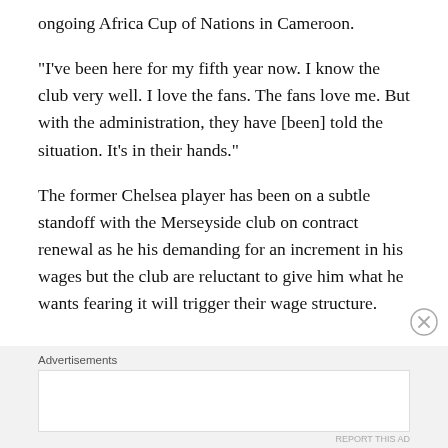ongoing Africa Cup of Nations in Cameroon.
“I’ve been here for my fifth year now. I know the club very well. I love the fans. The fans love me. But with the administration, they have [been] told the situation. It’s in their hands.”
The former Chelsea player has been on a subtle standoff with the Merseyside club on contract renewal as he his demanding for an increment in his wages but the club are reluctant to give him what he wants fearing it will trigger their wage structure.
Advertisements